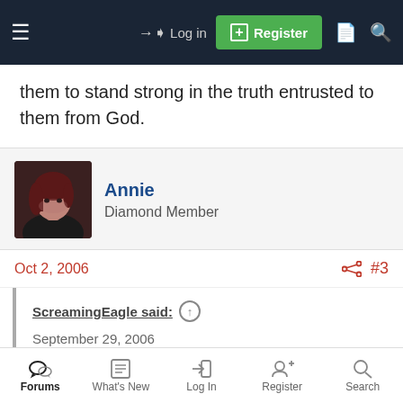Log in | Register
them to stand strong in the truth entrusted to them from God.
Annie
Diamond Member
Oct 2, 2006  #3
ScreamingEagle said:
September 29, 2006

Holy Challenge
A new chapter in Christian-Muslim relations?
Forums | What's New | Log In | Register | Search